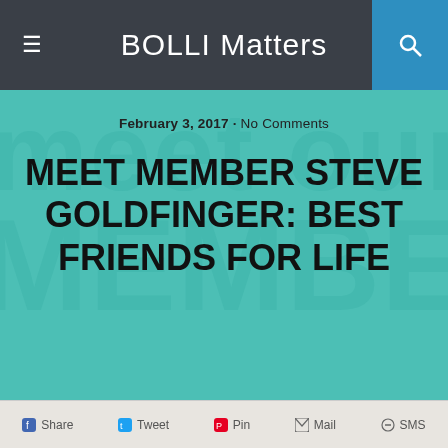BOLLI Matters
[Figure (illustration): Teal hero background with large faded text showing 'meet our MEMBER' in lighter teal, overlaid with article date and title]
February 3, 2017 · No Comments
MEET MEMBER STEVE GOLDFINGER: BEST FRIENDS FOR LIFE
Share  Tweet  Pin  Mail  SMS
MEET MEMBER STEVE GOLDFINGER:  BEST FRIENDS FOR LIFE
[Figure (photo): Broken image placeholder (failed to load image)]